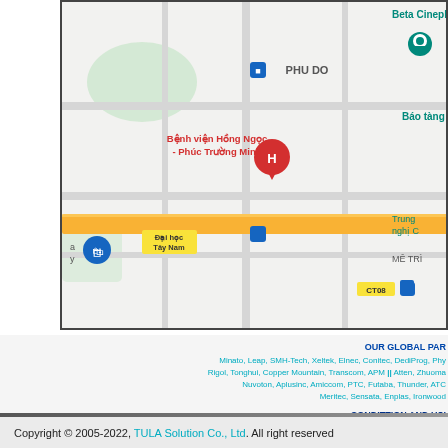[Figure (map): Google Maps screenshot showing area around Bệnh viện Hồng Ngọc - Phúc Trường Minh in Hanoi, Vietnam. Shows PHU DO district, Đại học Tây Nam, CT08 bus stop, Beta Cineplex M, Báo tàng, Trung nghị, MÊ TRÌ labels, and yellow main road.]
OUR GLOBAL PAR
Minato, Leap, SMH-Tech, Xeltek, Elnec, Conitec, DediProg, Phy
Rigol, Tonghui, Copper Mountain, Transcom, APM || Atten, Zhuoma
Nuvoton, Aplusinc, Amiccom, PTC, Futaba, Thunder, ATC
Meritec, Sensata, Enplas, Ironwood
CONDITTION AND USI
TULA Solution Co., Ltd - Công ty T
Headquater: No. 173 Group 15, Dong Anh
Head-Office: No. 6 Lane 23, Đinh Thôn street, Mỹ Đình
Tel.: +84-24.39655633,  Hotline: +84-91261
Copyright © 2005-2022, TULA Solution Co., Ltd. All right reserved